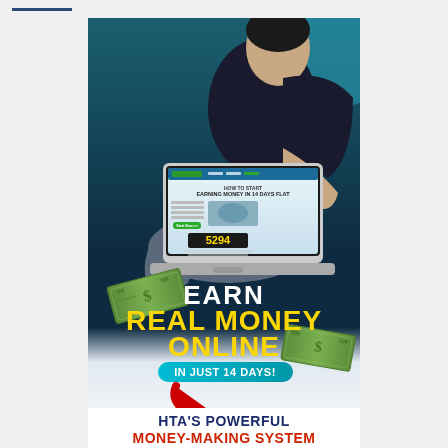[Figure (illustration): Promotional advertisement image showing a person sitting cross-legged using a laptop with a website on screen showing 'HOW TO START EARNING MONEY IN 14 DAYS FLAT' and a countdown '5294'. Flying dollar bills around them. Text overlay reads: EARN REAL MONEY ONLINE IN JUST 14 DAYS! with a red arrow pointing down. Bottom text: HTA'S POWERFUL MONEY-MAKING SYSTEM]